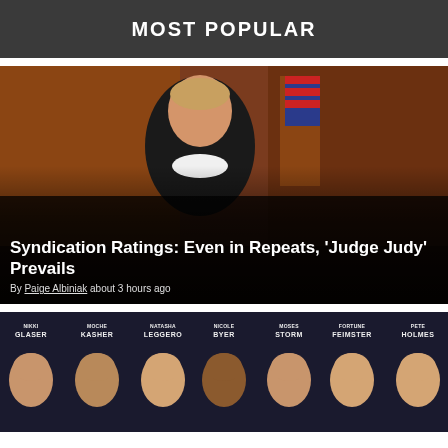MOST POPULAR
[Figure (photo): Photo of Judge Judy in black judicial robes with white lace collar, sitting in a courtroom with American flags in the background]
Syndication Ratings: Even in Repeats, 'Judge Judy' Prevails
By Paige Albiniak about 3 hours ago
[Figure (photo): Group photo of comedians with name labels: Nikki Glaser, Moche Kasher, Natasha Leggero, Nicole Byer, Moses Storm, Fortune Feimster, Pete Holmes]